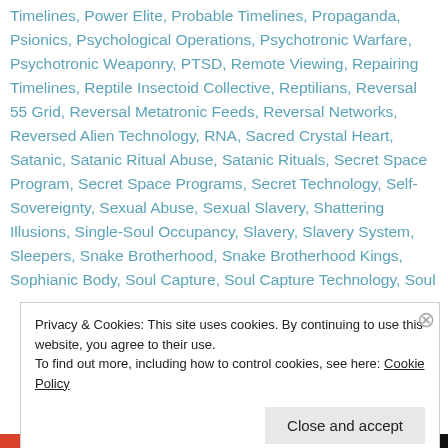Timelines, Power Elite, Probable Timelines, Propaganda, Psionics, Psychological Operations, Psychotronic Warfare, Psychotronic Weaponry, PTSD, Remote Viewing, Repairing Timelines, Reptile Insectoid Collective, Reptilians, Reversal 55 Grid, Reversal Metatronic Feeds, Reversal Networks, Reversed Alien Technology, RNA, Sacred Crystal Heart, Satanic, Satanic Ritual Abuse, Satanic Rituals, Secret Space Program, Secret Space Programs, Secret Technology, Self-Sovereignty, Sexual Abuse, Sexual Slavery, Shattering Illusions, Single-Soul Occupancy, Slavery, Slavery System, Sleepers, Snake Brotherhood, Snake Brotherhood Kings, Sophianic Body, Soul Capture, Soul Capture Technology, Soul
Privacy & Cookies: This site uses cookies. By continuing to use this website, you agree to their use.
To find out more, including how to control cookies, see here: Cookie Policy
Close and accept